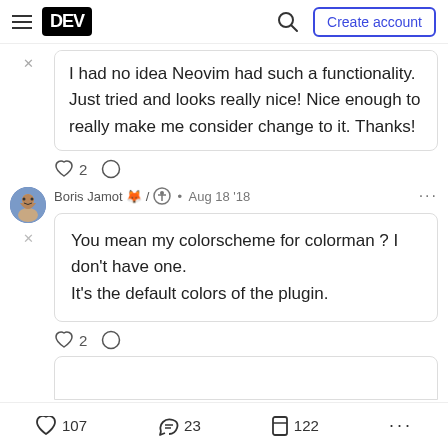DEV — Create account
I had no idea Neovim had such a functionality. Just tried and looks really nice! Nice enough to really make me consider change to it. Thanks!
♡ 2  ○
Boris Jamot 🦊 / 🌀 · Aug 18 '18
You mean my colorscheme for colorman ? I don't have one.
It's the default colors of the plugin.
♡ 2  ○
♡ 107   23   122   ...